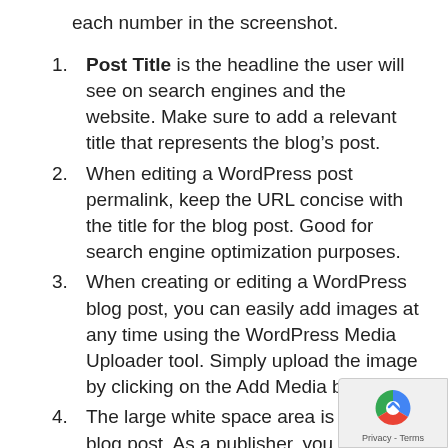each number in the screenshot.
Post Title is the headline the user will see on search engines and the website. Make sure to add a relevant title that represents the blog’s post.
When editing a WordPress post permalink, keep the URL concise with the title for the blog post. Good for search engine optimization purposes.
When creating or editing a WordPress blog post, you can easily add images at any time using the WordPress Media Uploader tool. Simply upload the image by clicking on the Add Media button.
The large white space area is for the blog post. As a publisher, you will need to add images, text, and incorporate headers to